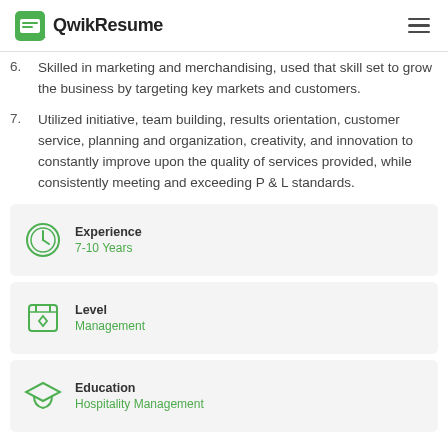QwikResume
6. Skilled in marketing and merchandising, used that skill set to grow the business by targeting key markets and customers.
7. Utilized initiative, team building, results orientation, customer service, planning and organization, creativity, and innovation to constantly improve upon the quality of services provided, while consistently meeting and exceeding P & L standards.
Experience
7-10 Years
Level
Management
Education
Hospitality Management